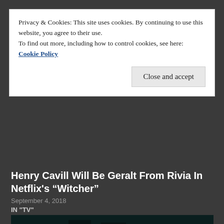Privacy & Cookies: This site uses cookies. By continuing to use this website, you agree to their use.
To find out more, including how to control cookies, see here:
Cookie Policy
Close and accept
Henry Cavill Will Be Geralt From Rivia In Netflix's "Witcher"
September 4, 2018
IN "TV"
[Figure (illustration): Dark teal-colored digital illustration of a futuristic/fantasy cityscape at night with tall skyscrapers and glowing cyan/teal lights]